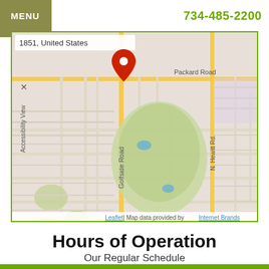MENU   734-485-2200
[Figure (map): Street map showing location near Packard Road, Golfside Road, and N. Hewitt Rd in United States. A red location pin is placed on the map. Address label reads '1851, United States'. Map credit: Leaflet | Map data provided by Internet Brands.]
Hours of Operation
Our Regular Schedule